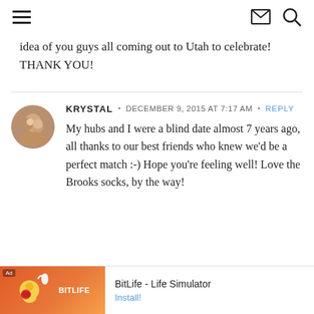[hamburger menu] [envelope icon] [search icon]
idea of you guys all coming out to Utah to celebrate! THANK YOU!
KRYSTAL · DECEMBER 9, 2015 AT 7:17 AM · REPLY
My hubs and I were a blind date almost 7 years ago, all thanks to our best friends who knew we'd be a perfect match :-) Hope you're feeling well! Love the Brooks socks, by the way!
[Figure (other): BitLife - Life Simulator advertisement banner with cartoon characters and app icon]
BitLife - Life Simulator  Install!